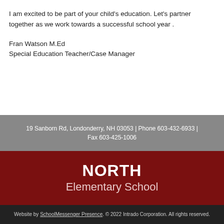I am excited to be part of your child's education. Let's partner together as we work towards a successful school year .
Fran Watson M.Ed
Special Education Teacher/Case Manager
19 Sanborn Rd, Londonderry, NH 03053 | Phone 603-432-6933 | Fax 603-425-1006
NORTH
Elementary School
Website by SchoolMessenger Presence. © 2022 Intrado Corporation. All rights reserved.